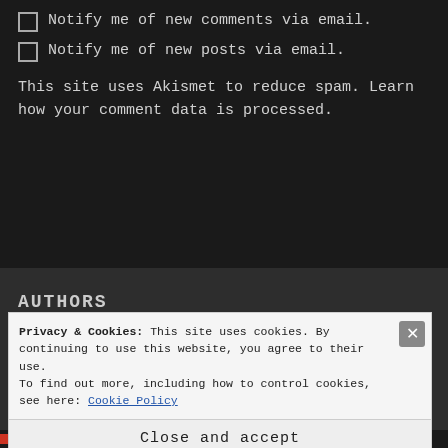Notify me of new comments via email.
Notify me of new posts via email.
This site uses Akismet to reduce spam. Learn how your comment data is processed.
AUTHORS
Privacy & Cookies: This site uses cookies. By continuing to use this website, you agree to their use. To find out more, including how to control cookies, see here: Cookie Policy
Close and accept